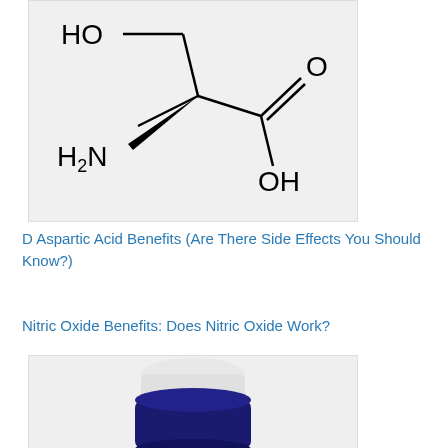[Figure (illustration): Chemical structure diagram of D-Aspartic Acid showing HO group at top left, H2N group at left, a carboxylic acid group (COOH) with C=O double bond and OH group at bottom right]
D Aspartic Acid Benefits (Are There Side Effects You Should Know?)
Nitric Oxide Benefits: Does Nitric Oxide Work?
[Figure (photo): Blue supplement/vitamin bottle with white cap, dark navy blue container]